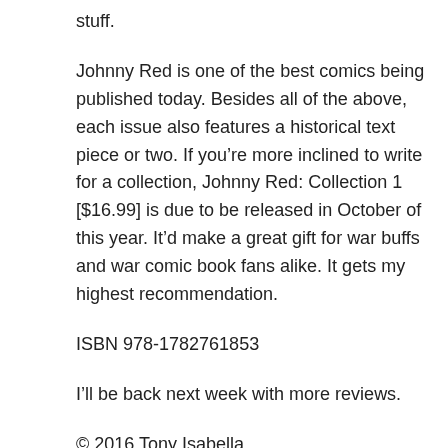stuff.
Johnny Red is one of the best comics being published today. Besides all of the above, each issue also features a historical text piece or two. If you’re more inclined to write for a collection, Johnny Red: Collection 1 [$16.99] is due to be released in October of this year. It’d make a great gift for war buffs and war comic book fans alike. It gets my highest recommendation.
ISBN 978-1782761853
I’ll be back next week with more reviews.
© 2016 Tony Isabella